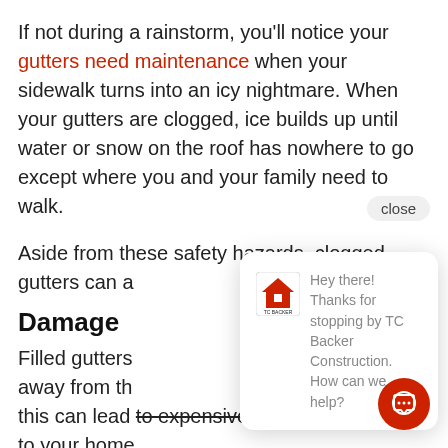If not during a rainstorm, you'll notice your gutters need maintenance when your sidewalk turns into an icy nightmare. When your gutters are clogged, ice builds up until water or snow on the roof has nowhere to go except where you and your family need to walk.
Aside from these safety hazards, clogged gutters can a…
Damage
Filled gutters… away from the… this can lead to expensive repairs and damage to your home.
Leaks
Clogged gutters can tear from their int…
[Figure (screenshot): Chat popup with TC Backer Construction logo and message: Hey there! Thanks for stopping by TC Backer Construction. How can we help?]
close